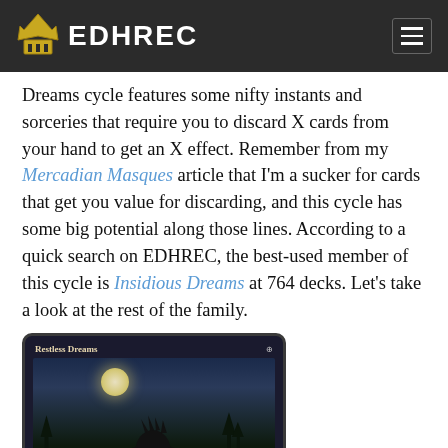EDHREC
Dreams cycle features some nifty instants and sorceries that require you to discard X cards from your hand to get an X effect. Remember from my Mercadian Masques article that I'm a sucker for cards that get you value for discarding, and this cycle has some big potential along those lines. According to a quick search on EDHREC, the best-used member of this cycle is Insidious Dreams at 764 decks. Let's take a look at the rest of the family.
[Figure (photo): Magic: The Gathering card 'Restless Dreams' showing a dark figure with a crown/spikes silhouetted against a full moon, with purple energy tendrils reaching out. Card type: Sorcery.]